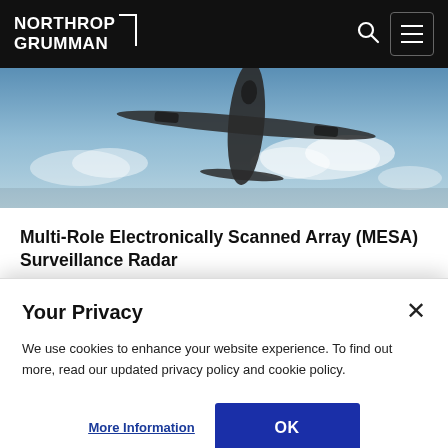NORTHROP GRUMMAN
[Figure (photo): Aerial photo of a Boeing 737 aircraft viewed from above against a blue sky with clouds, showing the aircraft's fuselage and wings.]
Multi-Role Electronically Scanned Array (MESA) Surveillance Radar
Brings military airborne surveillance capabilities to the Boeing 737 Airborne Early Warning and Control (AEW&C) system
Your Privacy
We use cookies to enhance your website experience. To find out more, read our updated privacy policy and cookie policy.
More Information
OK